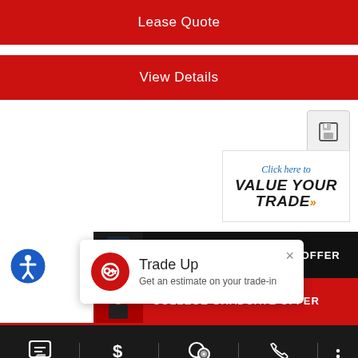Lease Quote
View Details
[Figure (screenshot): Save/bookmark icon button (floppy disk icon)]
[Figure (infographic): Click here to VALUE YOUR TRADE banner with orange arrows]
[Figure (infographic): Military Appreciation Offer banner with officer figure on black background]
[Figure (infographic): College Graduate Offer banner with graduate figure on red background]
[Figure (infographic): Trade Up popup: Get an estimate on your trade-in]
Contact Us | Eprice | Chat | Call Us | (more)